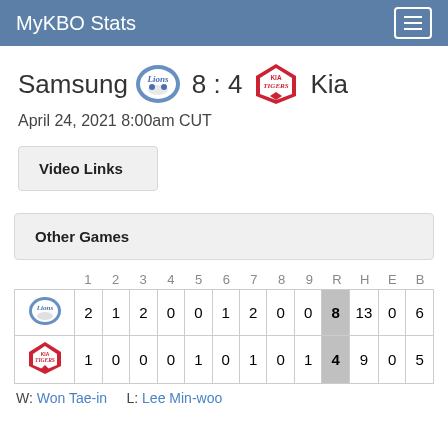MyKBO Stats
Samsung Lions 8 : 4 Kia Tigers
April 24, 2021 8:00am CUT
Video Links
Other Games
|  | 1 | 2 | 3 | 4 | 5 | 6 | 7 | 8 | 9 | R | H | E | B |
| --- | --- | --- | --- | --- | --- | --- | --- | --- | --- | --- | --- | --- | --- |
| Lions | 2 | 1 | 2 | 0 | 0 | 1 | 2 | 0 | 0 | 8 | 13 | 0 | 6 |
| Tigers | 1 | 0 | 0 | 0 | 1 | 0 | 1 | 0 | 1 | 4 | 9 | 0 | 5 |
W: Won Tae-in    L: Lee Min-woo